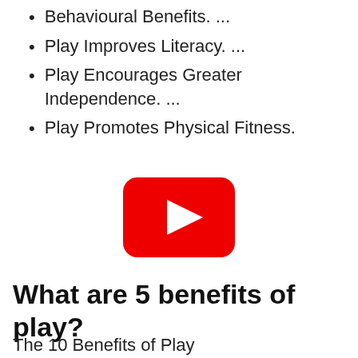Behavioural Benefits. ...
Play Improves Literacy. ...
Play Encourages Greater Independence. ...
Play Promotes Physical Fitness.
[Figure (other): YouTube play button icon — red rounded rectangle with white triangle pointing right]
What are 5 benefits of play?
The 10 Benefits of Play